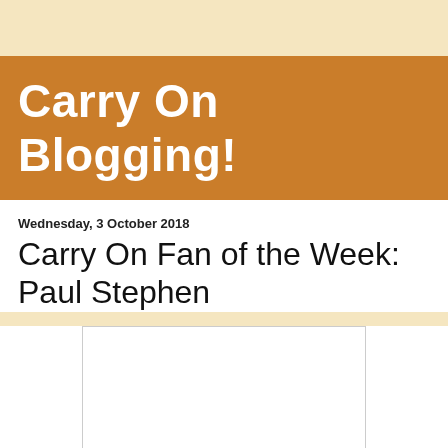Carry On Blogging!
Wednesday, 3 October 2018
Carry On Fan of the Week: Paul Stephen
[Figure (photo): A white rectangular image placeholder with a light gray border, positioned below the post title.]